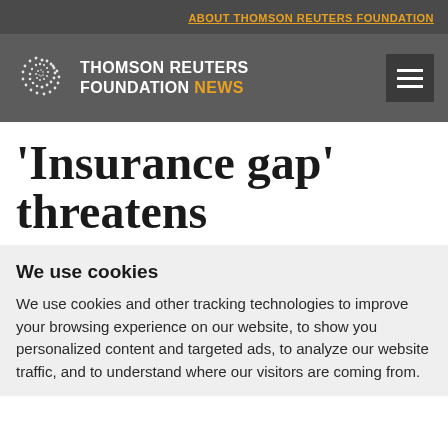ABOUT THOMSON REUTERS FOUNDATION
[Figure (logo): Thomson Reuters Foundation News logo with spiral icon and text 'THOMSON REUTERS FOUNDATION NEWS' in white and orange on dark grey background, with hamburger menu icon]
'Insurance gap' threatens
We use cookies
We use cookies and other tracking technologies to improve your browsing experience on our website, to show you personalized content and targeted ads, to analyze our website traffic, and to understand where our visitors are coming from.